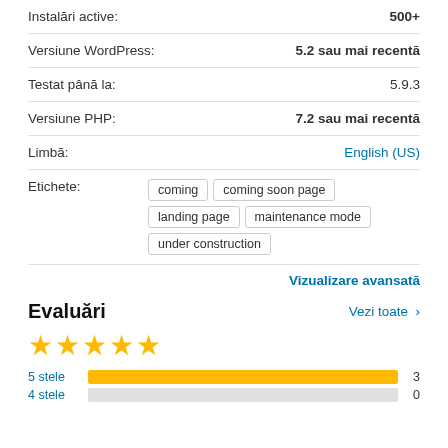Instalări active: 500+
Versiune WordPress: 5.2 sau mai recentă
Testat până la: 5.9.3
Versiune PHP: 7.2 sau mai recentă
Limbă: English (US)
Etichete: coming, coming soon page, landing page, maintenance mode, under construction
Vizualizare avansată
Evaluări
[Figure (other): 5 gold stars rating]
5 stele 3
4 stele 0